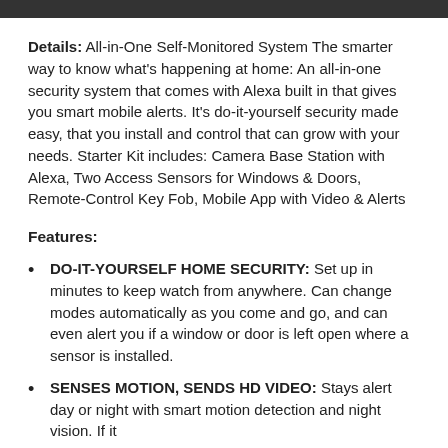Details: All-in-One Self-Monitored System The smarter way to know what's happening at home: An all-in-one security system that comes with Alexa built in that gives you smart mobile alerts. It's do-it-yourself security made easy, that you install and control that can grow with your needs. Starter Kit includes: Camera Base Station with Alexa, Two Access Sensors for Windows & Doors, Remote-Control Key Fob, Mobile App with Video & Alerts
Features:
DO-IT-YOURSELF HOME SECURITY: Set up in minutes to keep watch from anywhere. Can change modes automatically as you come and go, and can even alert you if a window or door is left open where a sensor is installed.
SENSES MOTION, SENDS HD VIDEO: Stays alert day or night with smart motion detection and night vision. If it